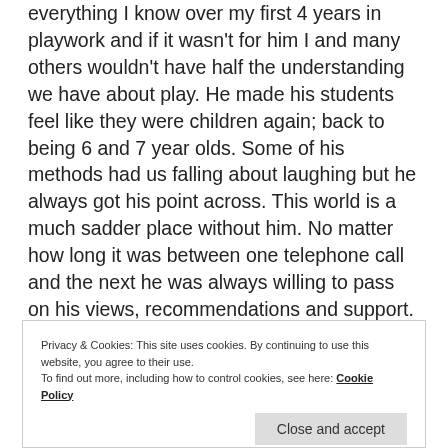everything I know over my first 4 years in playwork and if it wasn't for him I and many others wouldn't have half the understanding we have about play. He made his students feel like they were children again; back to being 6 and 7 year olds. Some of his methods had us falling about laughing but he always got his point across. This world is a much sadder place without him. No matter how long it was between one telephone call and the next he was always willing to pass on his views, recommendations and support. Stuart Lester – a gentleman with a heart of gold. You will live forever in my heart.
Privacy & Cookies: This site uses cookies. By continuing to use this website, you agree to their use. To find out more, including how to control cookies, see here: Cookie Policy
Close and accept